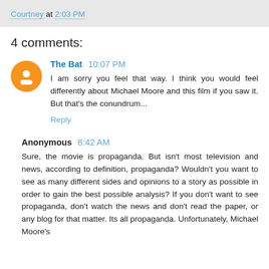Courtney at 2:03 PM
4 comments:
The Bat  10:07 PM
I am sorry you feel that way. I think you would feel differently about Michael Moore and this film if you saw it. But that's the conundrum...
Reply
Anonymous  8:42 AM
Sure, the movie is propaganda. But isn't most television and news, according to definition, propaganda? Wouldn't you want to see as many different sides and opinions to a story as possible in order to gain the best possible analysis? If you don't want to see propaganda, don't watch the news and don't read the paper, or any blog for that matter. Its all propaganda. Unfortunately, Michael Moore's